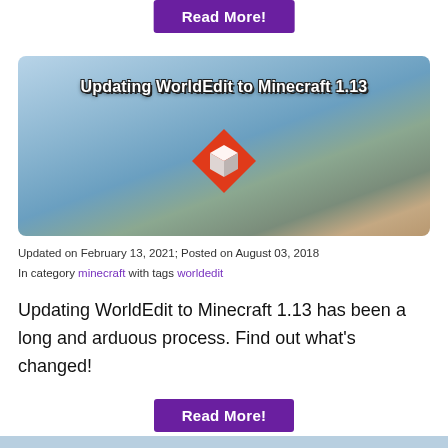[Figure (screenshot): Purple 'Read More!' button at top of page (partially visible)]
[Figure (illustration): Minecraft landscape banner image with WorldEdit logo and title 'Updating WorldEdit to Minecraft 1.13']
Updated on February 13, 2021; Posted on August 03, 2018
In category minecraft with tags worldedit
Updating WorldEdit to Minecraft 1.13 has been a long and arduous process. Find out what's changed!
[Figure (screenshot): Purple 'Read More!' button]
[Figure (screenshot): Partial light blue strip at bottom of page]